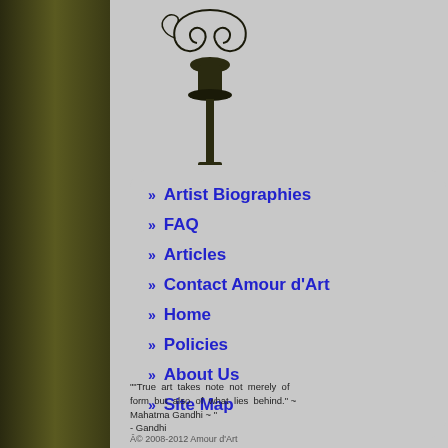[Figure (illustration): Decorative lamp post with ornamental scrollwork at top, rendered in dark olive/black tones against the left dark sidebar]
» Artist Biographies
» FAQ
» Articles
» Contact Amour d'Art
» Home
» Policies
» About Us
» Site Map
""True art takes note not merely of form but also of what lies behind." ~ Mahatma Gandhi ~ "
- Gandhi
Â© 2008-2012 Amour d'Art